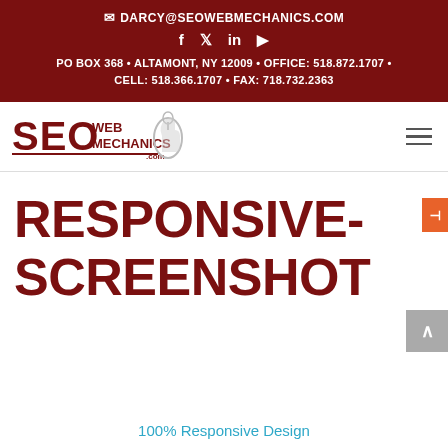✉ DARCY@SEOWEBMECHANICS.COM
f  t  in  ▶
PO BOX 368 • ALTAMONT, NY 12009 • OFFICE: 518.872.1707 • CELL: 518.366.1707 • FAX: 718.732.2363
[Figure (logo): SEO Web Mechanics logo with stylized text and computer mouse graphic]
RESPONSIVE-SCREENSHOT
100% Responsive Design